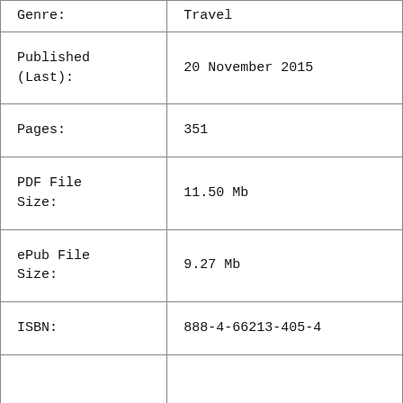| Field | Value |
| --- | --- |
| Genre: | Travel |
| Published (Last): | 20 November 2015 |
| Pages: | 351 |
| PDF File Size: | 11.50 Mb |
| ePub File Size: | 9.27 Mb |
| ISBN: | 888-4-66213-405-4 |
|  |  |